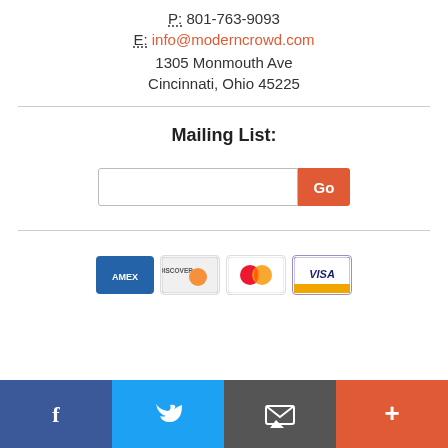P: 801-763-9093
E: info@moderncrowd.com
1305 Monmouth Ave
Cincinnati, Ohio 45225
Mailing List:
[Figure (other): Email mailing list input field with orange Go button]
[Figure (other): Payment method icons: AMEX, Discover, Mastercard, Visa]
[Figure (other): Social media bar with Facebook, Twitter, Email, and Plus buttons]